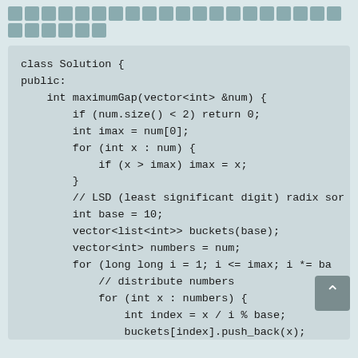[Figure (other): Decorative header boxes/blocks in two rows on a light teal background]
class Solution {
public:
    int maximumGap(vector<int> &num) {
        if (num.size() < 2) return 0;
        int imax = num[0];
        for (int x : num) {
            if (x > imax) imax = x;
        }
        // LSD (least significant digit) radix sor
        int base = 10;
        vector<list<int>> buckets(base);
        vector<int> numbers = num;
        for (long long i = 1; i <= imax; i *= ba
            // distribute numbers
            for (int x : numbers) {
                int index = x / i % base;
                buckets[index].push_back(x);
            }
        // put back numbers